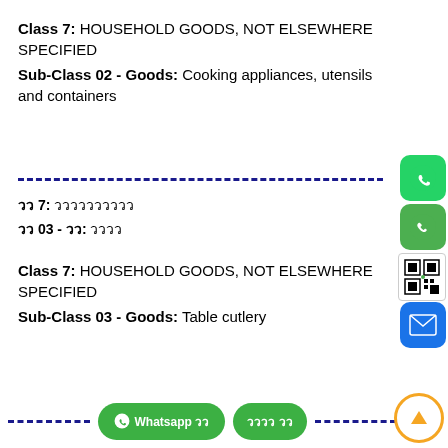Class 7: HOUSEHOLD GOODS, NOT ELSEWHERE SPECIFIED
Sub-Class 02 - Goods: Cooking appliances, utensils and containers
วว 7: วววววววววว
วว 03 - วว: วววว
Class 7: HOUSEHOLD GOODS, NOT ELSEWHERE SPECIFIED
Sub-Class 03 - Goods: Table cutlery
[Figure (other): WhatsApp icon button on right side]
[Figure (other): Phone icon button on right side]
[Figure (other): QR code on right side]
[Figure (other): Email/mail icon button on right side]
[Figure (other): Whatsapp button and Thai language button at bottom, back-to-top arrow icon]